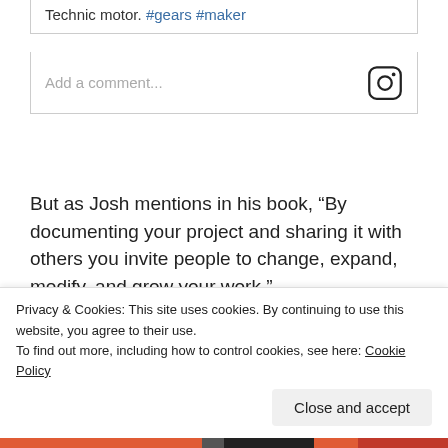Technic motor. #gears #maker
Add a comment...
But as Josh mentions in his book, “By documenting your project and sharing it with others you invite people to change, expand, modify, and grow your work.”
One of the best things about maker projects is that you
Privacy & Cookies: This site uses cookies. By continuing to use this website, you agree to their use.
To find out more, including how to control cookies, see here: Cookie Policy
Close and accept